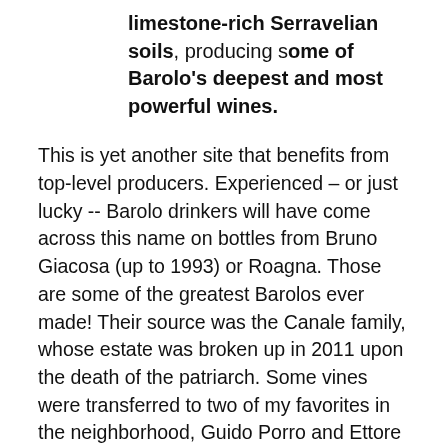limestone-rich Serravelian soils, producing some of Barolo's deepest and most powerful wines.
This is yet another site that benefits from top-level producers. Experienced – or just lucky -- Barolo drinkers will have come across this name on bottles from Bruno Giacosa (up to 1993) or Roagna. Those are some of the greatest Barolos ever made! Their source was the Canale family, whose estate was broken up in 2011 upon the death of the patriarch. Some vines were transferred to two of my favorites in the neighborhood, Guido Porro and Ettore Germano, who both replanted the vines. Porro's first single-vineyard Vigna Rionda was in 2014, made from baby vines. Germano released a Langhe Nebbiolo from the site that year and plans to